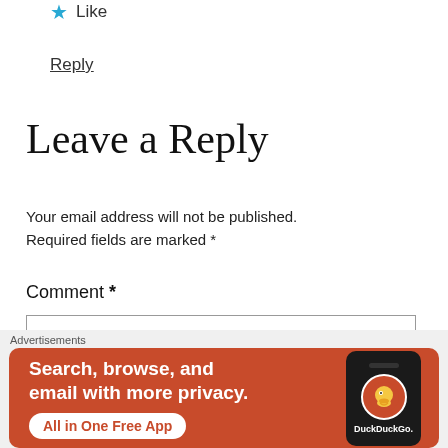★ Like
Reply
Leave a Reply
Your email address will not be published. Required fields are marked *
Comment *
[Figure (screenshot): Empty comment text input box with border]
[Figure (screenshot): DuckDuckGo advertisement banner: Search, browse, and email with more privacy. All in One Free App. Shows DuckDuckGo logo on a phone against orange background.]